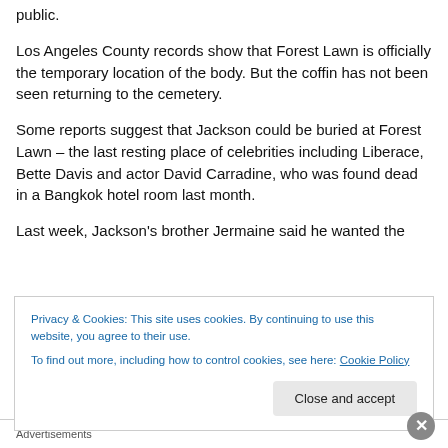public.
Los Angeles County records show that Forest Lawn is officially the temporary location of the body. But the coffin has not been seen returning to the cemetery.
Some reports suggest that Jackson could be buried at Forest Lawn – the last resting place of celebrities including Liberace, Bette Davis and actor David Carradine, who was found dead in a Bangkok hotel room last month.
Last week, Jackson's brother Jermaine said he wanted the
Privacy & Cookies: This site uses cookies. By continuing to use this website, you agree to their use.
To find out more, including how to control cookies, see here: Cookie Policy
Close and accept
Advertisements